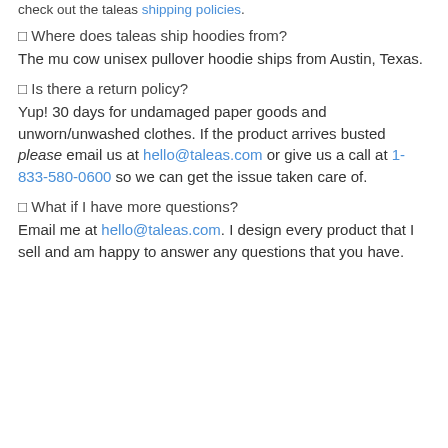check out the taleas shipping policies.
🞄 Where does taleas ship hoodies from?
The mu cow unisex pullover hoodie ships from Austin, Texas.
🞄 Is there a return policy?
Yup! 30 days for undamaged paper goods and unworn/unwashed clothes. If the product arrives busted please email us at hello@taleas.com or give us a call at 1-833-580-0600 so we can get the issue taken care of.
🞄 What if I have more questions?
Email me at hello@taleas.com. I design every product that I sell and am happy to answer any questions that you have.